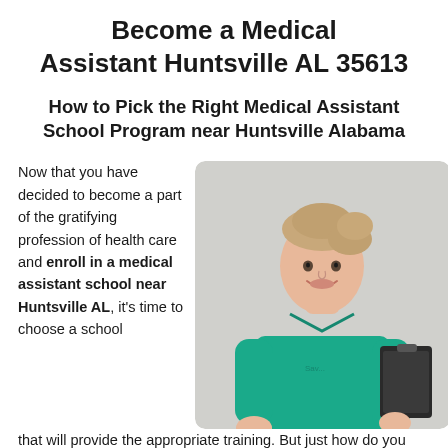Become a Medical Assistant Huntsville AL 35613
How to Pick the Right Medical Assistant School Program near Huntsville Alabama
Now that you have decided to become a part of the gratifying profession of health care and enroll in a medical assistant school near Huntsville AL, it's time to choose a school that will provide the appropriate training. But just how do you
[Figure (photo): A smiling female medical assistant wearing teal/green scrubs, holding a clipboard, photographed against a light gray background.]